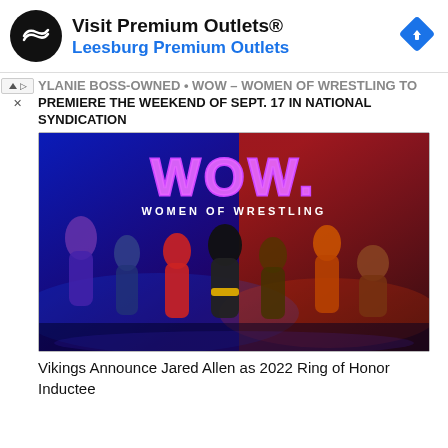[Figure (advertisement): Visit Premium Outlets® / Leesburg Premium Outlets ad banner with circular logo and navigation diamond icon]
YLANIE BOSS-OWNED • WOW – WOMEN OF WRESTLING TO PREMIERE THE WEEKEND OF SEPT. 17 IN NATIONAL SYNDICATION
[Figure (photo): WOW – Women of Wrestling promotional image showing multiple female wrestlers posed in front of a dramatic blue/red arena background with the WOW logo in pink neon text]
Vikings Announce Jared Allen as 2022 Ring of Honor Inductee